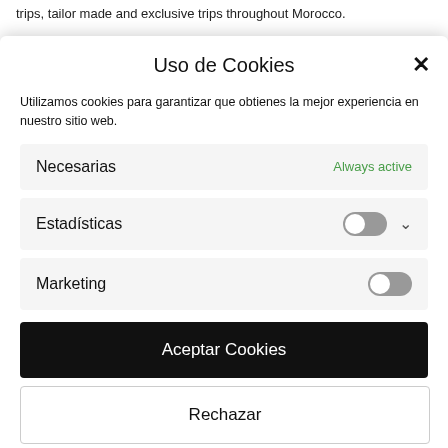trips, tailor made and exclusive trips throughout Morocco.
Morocco Adventure has a human team with qualified official guides and
Uso de Cookies
Utilizamos cookies para garantizar que obtienes la mejor experiencia en nuestro sitio web.
Necesarias
Always active
Estadísticas
Marketing
Aceptar Cookies
Rechazar
Política de Cookies   Data Protection